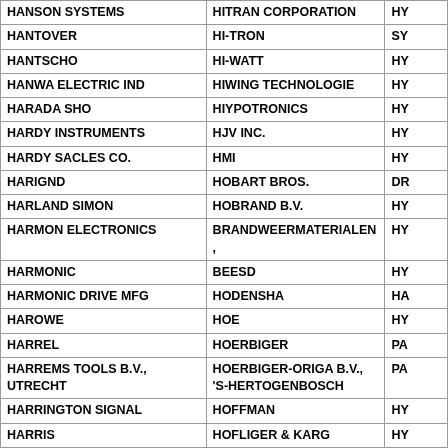| Column 1 | Column 2 | Column 3 (partial) |
| --- | --- | --- |
| HANSON SYSTEMS | HITRAN CORPORATION | HY |
| HANTOVER | HI-TRON | SY |
| HANTSCHO | HI-WATT | HY |
| HANWA ELECTRIC IND | HIWING TECHNOLOGIE | HY |
| HARADA SHO | HIYPOTRONICS | HY |
| HARDY INSTRUMENTS | HJV INC. | HY |
| HARDY SACLES CO. | HMI | HY |
| HARIGND | HOBART BROS. | DR |
| HARLAND SIMON | HOBRAND B.V. | HY |
| HARMON ELECTRONICS | BRANDWEERMATERIALEN, | HY |
| HARMONIC | BEESD | HY |
| HARMONIC DRIVE MFG | HODENSHA | HA |
| HAROWE | HOE | HY |
| HARREL | HOERBIGER | PA |
| HARREMS TOOLS B.V., UTRECHT | HOERBIGER-ORIGA B.V., 'S-HERTOGENBOSCH | PA |
| HARRINGTON SIGNAL | HOFFMAN | HY |
| HARRIS | HOFLIGER & KARG | HY |
| HARRIS CORPORATION | HOFMANN | HE |
| HARRIS GRAPHICS | HOGAN | HY |